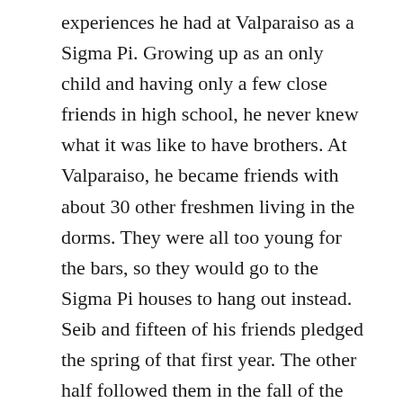experiences he had at Valparaiso as a Sigma Pi. Growing up as an only child and having only a few close friends in high school, he never knew what it was like to have brothers. At Valparaiso, he became friends with about 30 other freshmen living in the dorms. They were all too young for the bars, so they would go to the Sigma Pi houses to hang out instead. Seib and fifteen of his friends pledged the spring of that first year. The other half followed them in the fall of the following year, adding 30 kids to a once small chapter of Sigma Pi. Seib said, “For the first time in my life, I felt fellowship. I never played a team sport or had siblings. With Sigma Pi, there was unity and brotherhood. To this day, the guys are still my best friends.”